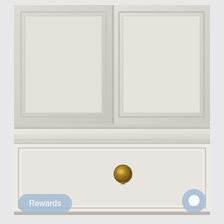[Figure (photo): Close-up photo of white painted wood furniture — a wardrobe or dresser — showing cabinet doors with raised panel detail in the upper portion, and a drawer with a round antique brass/gold knob in the lower portion. The wood finish is off-white/cream with subtle grain texture visible. The hardware is a classic round mushroom-style knob in aged brass.]
Rewards